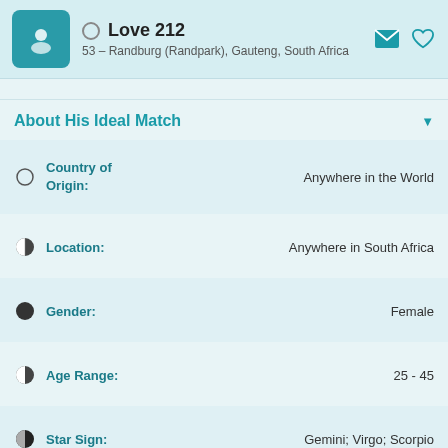Love212
53 – Randburg (Randpark), Gauteng, South Africa
About His Ideal Match
| Field | Value |
| --- | --- |
| Country of Origin: | Anywhere in the World |
| Location: | Anywhere in South Africa |
| Gender: | Female |
| Age Range: | 25 - 45 |
| Star Sign: | Gemini; Virgo; Scorpio |
| Height: | Any |